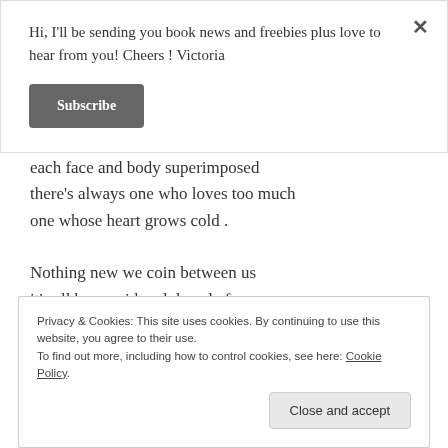Hi, I'll be sending you book news and freebies plus love to hear from you! Cheers ! Victoria
Subscribe
each face and body superimposed
there's always one who loves too much
one whose heart grows cold .

Nothing new we coin between us
it's all been said and done before
but we live in hope of some super stroke
Privacy & Cookies: This site uses cookies. By continuing to use this website, you agree to their use.
To find out more, including how to control cookies, see here: Cookie Policy
Close and accept